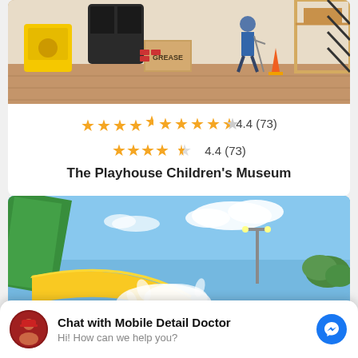[Figure (photo): Interior photo of The Playhouse Children's Museum showing a child with crutches, colorful play structures, wooden blocks, and construction-themed decor]
★★★★½  4.4 (73)
The Playhouse Children's Museum
[Figure (photo): Outdoor water park photo showing a yellow and green water slide with splashing water against a blue sky with clouds]
Chat with Mobile Detail Doctor
Hi! How can we help you?